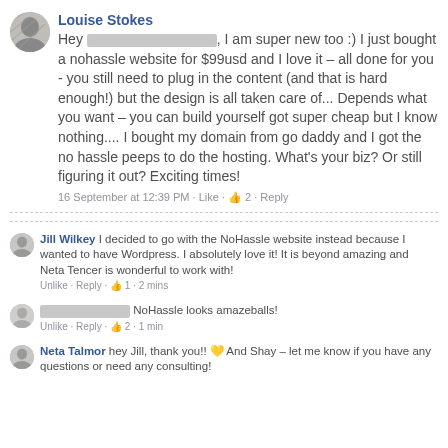[Figure (photo): Facebook profile photo thumbnail of Louise Stokes, black and white portrait]
Louise Stokes
Hey [REDACTED], I am super new too :) I just bought a nohassle website for $99usd and I love it – all done for you - you still need to plug in the content (and that is hard enough!) but the design is all taken care of... Depends what you want – you can build yourself got super cheap but I know nothing.... I bought my domain from go daddy and I got the no hassle peeps to do the hosting. What's your biz? Or still figuring it out? Exciting times!
16 September at 12:39 PM · Like · 👍 2 · Reply
Jill Wilkey I decided to go with the NoHassle website instead because I wanted to have Wordpress. I absolutely love it! It is beyond amazing and Neta Tencer is wonderful to work with!
Unlike · Reply · 👍 1 · 2 mins
[REDACTED] NoHassle looks amazeballs!
Unlike · Reply · 👍 2 · 1 min
Neta Talmor hey Jill, thank you!! 💛 And Shay – let me know if you have any questions or need any consulting!